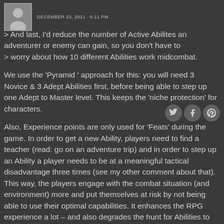DECEMBER 23, 2021 · 6:11 PM
> And last, I'd reduce the number of Active Abilites an adventurer or enemy can gain, so you don't have to > worry about how 10 different Abilities work midcombat.
We use the 'Pyramid ' approach for this: you will need 3 Novice & 3 Adept Abilities first, before being able to step up one Adept to Master level. This keeps the 'niche protection' for characters.
[Figure (infographic): Three social media icons: Twitter, Facebook, Pinterest]
Also, Experience points are only used for 'Feats' during the game. In order to get a new Ability, players need to find a teacher (read: go on an adventure trip) and in order to step up an Ability a player needs to be at a meaningful tactical disadvantage three times (see my other comment about that). This way, the players engage with the combat situation (and environment) more and put themselves at risk by not being able to use their optimal capabilities. It enhances the RPG experience a lot – and also degrades the hunt for Abilities to something secondary. The players